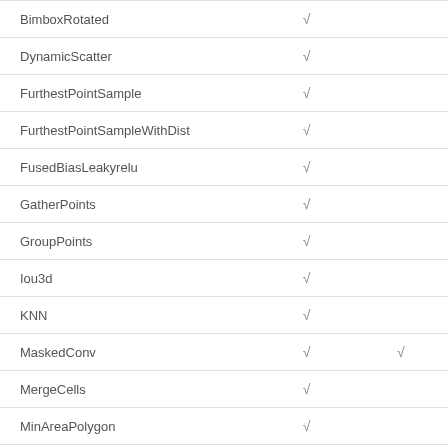|  |  |  |
| --- | --- | --- |
| BimboxRotated | √ |  |
| DynamicScatter | √ |  |
| FurthestPointSample | √ |  |
| FurthestPointSampleWithDist | √ |  |
| FusedBiasLeakyrelu | √ |  |
| GatherPoints | √ |  |
| GroupPoints | √ |  |
| Iou3d | √ |  |
| KNN | √ |  |
| MaskedConv | √ | √ |
| MergeCells | √ |  |
| MinAreaPolygon | √ |  |